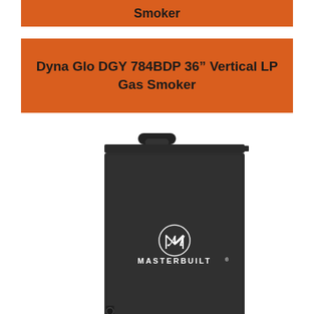Smoker
Dyna Glo DGY 784BDP 36″ Vertical LP Gas Smoker
[Figure (photo): Photo of a Masterbuilt black vertical electric smoker with the Masterbuilt logo (stylized M in a circle above the brand name) on the front panel. The unit is a tall rectangular black box with a handle on top and a latch visible on the lower left.]